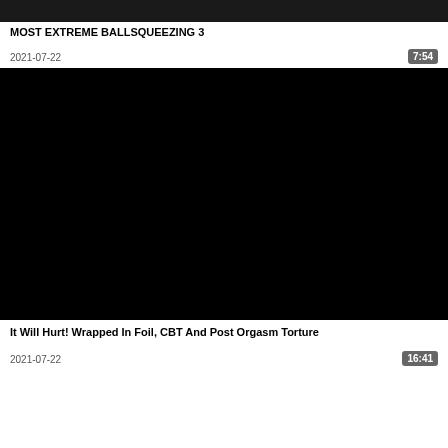[Figure (photo): Dark/partially visible thumbnail image at top of page]
MOST EXTREME BALLSQUEEZING 3
2021-07-22
7:54
[Figure (photo): Black thumbnail image for second video entry]
It Will Hurt! Wrapped In Foil, CBT And Post Orgasm Torture
2021-07-22
16:41